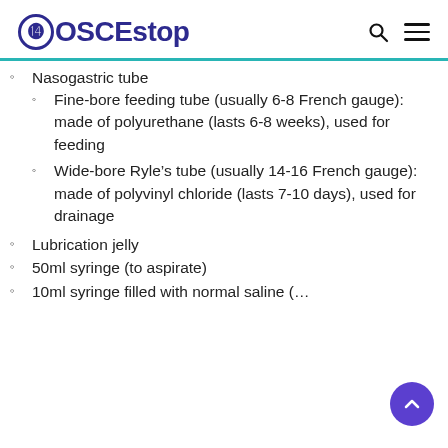OSCEstop
Nasogastric tube
Fine-bore feeding tube (usually 6-8 French gauge): made of polyurethane (lasts 6-8 weeks), used for feeding
Wide-bore Ryle’s tube (usually 14-16 French gauge): made of polyvinyl chloride (lasts 7-10 days), used for drainage
Lubrication jelly
50ml syringe (to aspirate)
10ml syringe filled with normal saline (…)